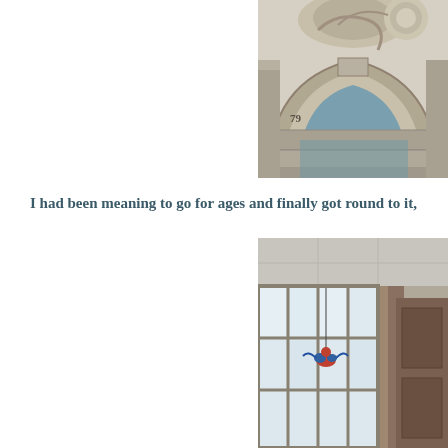[Figure (photo): Close-up photograph of ornate stone architectural detail, showing carved decorative elements above an arched doorway or window, with classical stonework including a circular medallion and curved archway details. Partially cropped at right edge.]
I had been meaning to go for ages and finally got round to it,
[Figure (photo): Interior photograph showing a large window with grid panes letting in light, an adjacent wooden door frame, and a suspended decorative hanging element (appears to be a bird or ornament) in front of the window. Ceiling and walls visible. Partially cropped at right edge.]